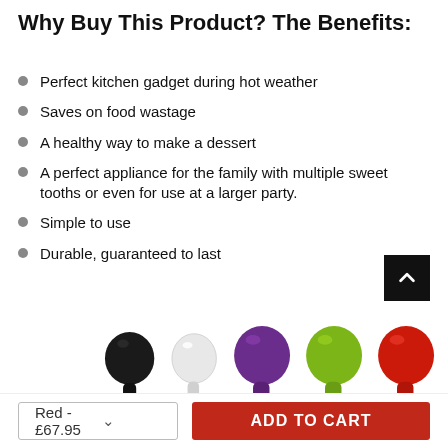Why Buy This Product? The Benefits:
Perfect kitchen gadget during hot weather
Saves on food wastage
A healthy way to make a dessert
A perfect appliance for the family with multiple sweet tooths or even for use at a larger party.
Simple to use
Durable, guaranteed to last
[Figure (photo): Five colorful kitchen gadget heads shown in black, white, purple, green, and red colors.]
Red - £67.95   ADD TO CART